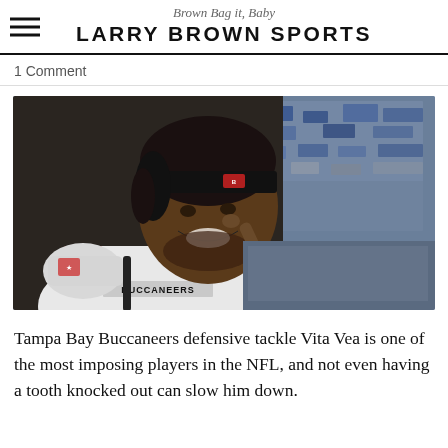Brown Bag it, Baby — LARRY BROWN SPORTS
1 Comment
[Figure (photo): Tampa Bay Buccaneers player smiling and pointing a finger, wearing white Buccaneers jersey and dark headband, with a blurred stadium crowd in the background]
Tampa Bay Buccaneers defensive tackle Vita Vea is one of the most imposing players in the NFL, and not even having a tooth knocked out can slow him down.